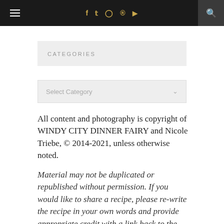≡  f  𝕥  📷  𝗣  ▶  🔍
CATEGORIES
Select Category
All content and photography is copyright of WINDY CITY DINNER FAIRY and Nicole Triebe, © 2014-2021, unless otherwise noted.
Material may not be duplicated or republished without permission. If you would like to share a recipe, please re-write the recipe in your own words and provide appropriate credit with a link back to the original post. Thank you!